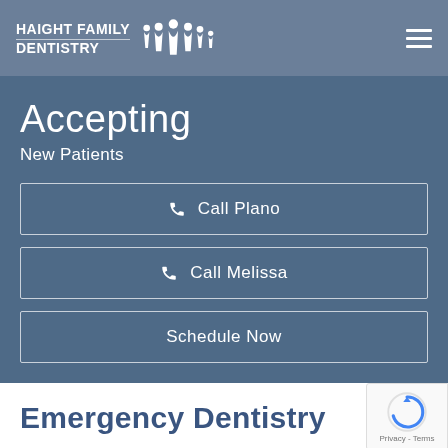Haight Family Dentistry
Accepting
New Patients
Call Plano
Call Melissa
Schedule Now
Emergency Dentistry